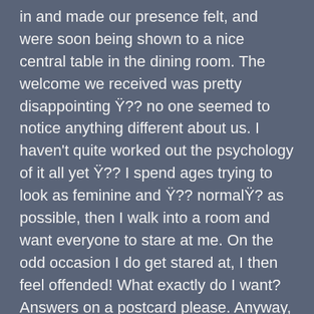in and made our presence felt, and were soon being shown to a nice central table in the dining room. The welcome we received was pretty disappointing Ÿ?? no one seemed to notice anything different about us. I haven't quite worked out the psychology of it all yet Ÿ?? I spend ages trying to look as feminine and Ÿ?? normalŸ? as possible, then I walk into a room and want everyone to stare at me. On the odd occasion I do get stared at, I then feel offended! What exactly do I want? Answers on a postcard please. Anyway, we sat down, and were soon offered drinks and presented with menus. Sue had a nice glass of dry white wine with ice, and I had the obligatory diet coke. Then, we poured over the menus, seeing what tempted us and what didn't. It didn't take long, and I had chosen my first two courses. Sue was only seconds behind me, and we were in a position to place an order. I started off with garlic and chilli king prawns, and Sue went with the